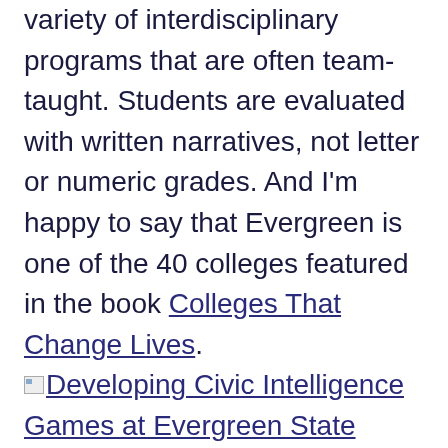variety of interdisciplinary programs that are often team-taught. Students are evaluated with written narratives, not letter or numeric grades. And I'm happy to say that Evergreen is one of the 40 colleges featured in the book Colleges That Change Lives.
[Figure (other): Small broken image icon placeholder for a linked image titled 'Developing Civic Intelligence Games at Evergreen State College']
Developing Civic Intelligence Games at Evergreen State College
Developing Civic Intelligence Games at Evergreen State College
At Evergreen I offer classes and a research lab that examine — and practice — civic intelligence, the